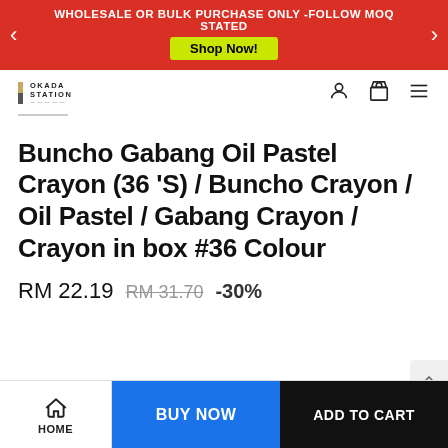WHOLESALE OR BULK PURCHASE ONLY -FOLLOW MOQ STATED Shop Now!
[Figure (logo): Okada Station brand logo with vertical stripe and text]
Buncho Gabang Oil Pastel Crayon (36 'S) / Buncho Crayon / Oil Pastel / Gabang Crayon / Crayon in box #36 Colour
RM 22.19  RM 31.70  -30%
HOME  BUY NOW  ADD TO CART